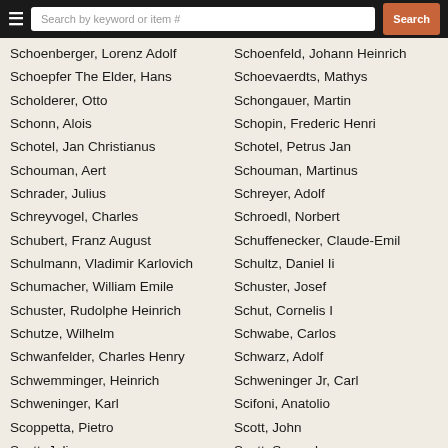Search by keyword or item # | Search
Schoenberger, Lorenz Adolf
Schoenfeld, Johann Heinrich
Schoepfer The Elder, Hans
Schoevaerdts, Mathys
Scholderer, Otto
Schongauer, Martin
Schonn, Alois
Schopin, Frederic Henri
Schotel, Jan Christianus
Schotel, Petrus Jan
Schouman, Aert
Schouman, Martinus
Schrader, Julius
Schreyer, Adolf
Schreyvogel, Charles
Schroedl, Norbert
Schubert, Franz August
Schuffenecker, Claude-Emil
Schulmann, Vladimir Karlovich
Schultz, Daniel Ii
Schumacher, William Emile
Schuster, Josef
Schuster, Rudolphe Heinrich
Schut, Cornelis I
Schutze, Wilhelm
Schwabe, Carlos
Schwanfelder, Charles Henry
Schwarz, Adolf
Schwemminger, Heinrich
Schweninger Jr, Carl
Schweninger, Karl
Scifoni, Anatolio
Scoppetta, Pietro
Scott, John
Scott, Julian
Scott, Samuel
Scott, William Bell
Scrots, Guillaume
Seager, Edward
Searle, Helen
Sebes, Pieter-Willem
Seboth, Josef
Sebron, Hyppolite
Seddon, Thomas B.